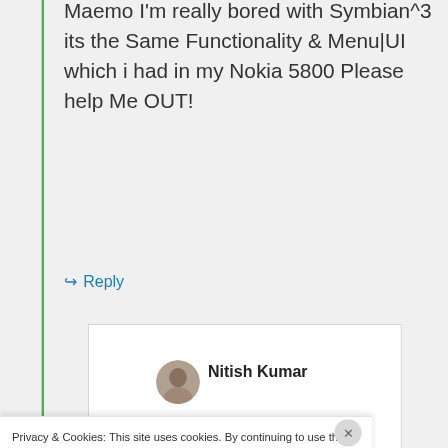Maemo I'm really bored with Symbian^3 its the Same Functionality & Menu|UI which i had in my Nokia 5800 Please help Me OUT!
↳ Reply
Nitish Kumar
Privacy & Cookies: This site uses cookies. By continuing to use this website, you agree to their use.
To find out more, including how to control cookies, see here: Cookie Policy